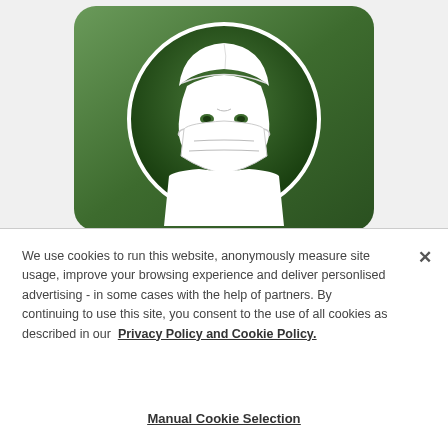[Figure (illustration): Green rounded-square icon with a white circle containing an illustration of a medical professional (surgeon/doctor) wearing a surgical cap and face mask, depicted in white line-drawing style on dark green background.]
We use cookies to run this website, anonymously measure site usage, improve your browsing experience and deliver personlised advertising - in some cases with the help of partners. By continuing to use this site, you consent to the use of all cookies as described in our Privacy Policy and Cookie Policy.
Manual Cookie Selection